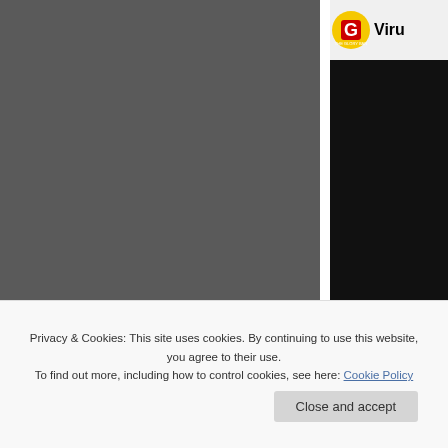[Figure (screenshot): Dark grey video player on the left side of the page, partially cropped. Right sidebar shows a channel logo with 'G' icon in yellow/red and text 'Viru' (truncated), followed by a black video thumbnail area, and a 'Watch on' button bar.]
Privacy & Cookies: This site uses cookies. By continuing to use this website, you agree to their use.
To find out more, including how to control cookies, see here: Cookie Policy
Close and accept